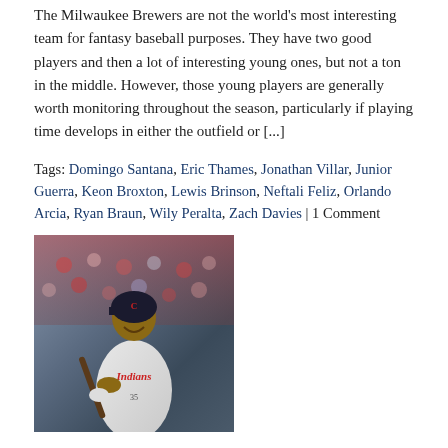The Milwaukee Brewers are not the world's most interesting team for fantasy baseball purposes. They have two good players and then a lot of interesting young ones, but not a ton in the middle. However, those young players are generally worth monitoring throughout the season, particularly if playing time develops in either the outfield or [...]
Tags: Domingo Santana, Eric Thames, Jonathan Villar, Junior Guerra, Keon Broxton, Lewis Brinson, Neftali Feliz, Orlando Arcia, Ryan Braun, Wily Peralta, Zach Davies | 1 Comment
[Figure (photo): A baseball player in a white Cleveland Indians uniform holding a bat, smiling, with a crowd in the background]
REPLACING CHRIS CARTER